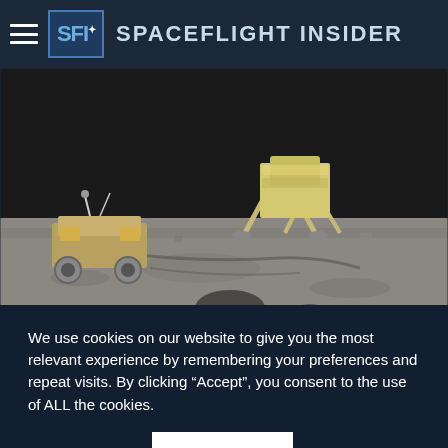Spaceflight Insider
[Figure (photo): Apollo 16 lunar surface photo showing an astronaut walking near the lunar module and lunar roving vehicle on the Moon's surface]
Young became the ninth man to walk on the Moon as the commander of the Apollo 16 mission in 1972. Photo Credit: Charlie Duke / NASA
We use cookies on our website to give you the most relevant experience by remembering your preferences and repeat visits. By clicking “Accept”, you consent to the use of ALL the cookies.
Privacy Policy   ACCEPT